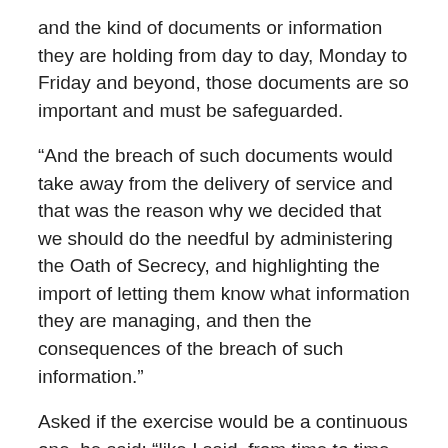and the kind of documents or information they are holding from day to day, Monday to Friday and beyond, those documents are so important and must be safeguarded.
“And the breach of such documents would take away from the delivery of service and that was the reason why we decided that we should do the needful by administering the Oath of Secrecy, and highlighting the import of letting them know what information they are managing, and then the consequences of the breach of such information.”
Asked if the exercise would be a continuous one, he said: “like I said, from time to time, people who handle this schedule retired, some of them get deployed or posted out. So when new people come in, you need to also renew this exercise so that all of us are always on the same page.”